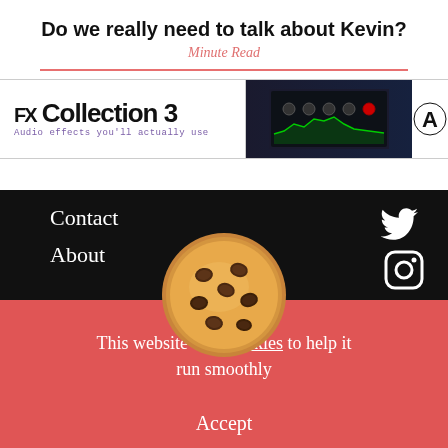Do we really need to talk about Kevin?
Minute Read
[Figure (screenshot): Advertisement banner for FX Collection 3 - Audio effects you'll actually use, showing audio plugin interface]
Contact
About
[Figure (illustration): Twitter bird icon in white on black background]
[Figure (illustration): Instagram camera icon in white on black background]
[Figure (illustration): Chocolate chip cookie emoji/illustration]
This website uses cookies to help it run smoothly
Accept